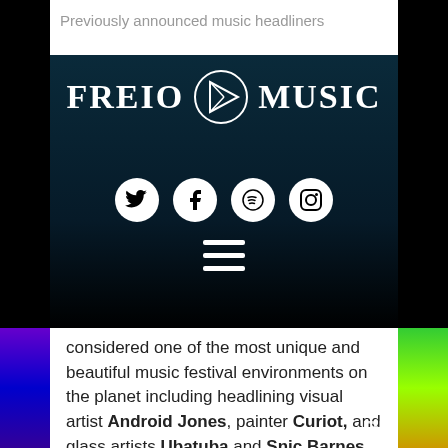Previously announced music headliners
[Figure (logo): FREIO MUSIC logo with triangular geometric icon in a circle, white text on dark blue/black background]
[Figure (infographic): Four social media icons: Twitter, Facebook, Spotify, Instagram as white circles with black icons]
[Figure (infographic): Hamburger menu icon (three white lines)]
considered one of the most unique and beautiful music festival environments on the planet including headlining visual artist Android Jones, painter Curiot, and glass artists Ubatuba and Snic Barnes. The 2014 Luna Stage architects, Hoodie and Tigre, return to further expand on their impressive creations from last year.